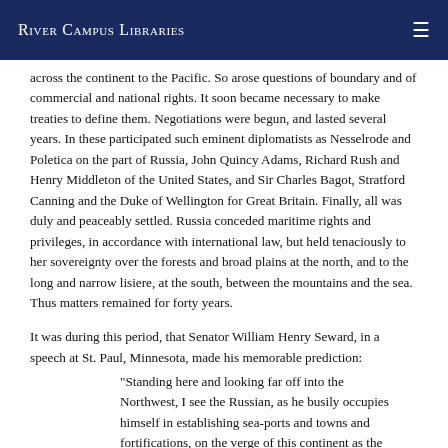River Campus Libraries
across the continent to the Pacific. So arose questions of boundary and of commercial and national rights. It soon became necessary to make treaties to define them. Negotiations were begun, and lasted several years. In these participated such eminent diplomatists as Nesselrode and Poletica on the part of Russia, John Quincy Adams, Richard Rush and Henry Middleton of the United States, and Sir Charles Bagot, Stratford Canning and the Duke of Wellington for Great Britain. Finally, all was duly and peaceably settled. Russia conceded maritime rights and privileges, in accordance with international law, but held tenaciously to her sovereignty over the forests and broad plains at the north, and to the long and narrow lisiere, at the south, between the mountains and the sea. Thus matters remained for forty years.
It was during this period, that Senator William Henry Seward, in a speech at St. Paul, Minnesota, made his memorable prediction:
"Standing here and looking far off into the Northwest, I see the Russian, as he busily occupies himself in establishing sea-ports and towns and fortifications, on the verge of this continent as the